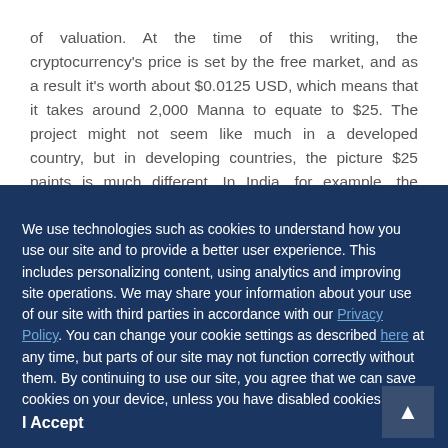of valuation. At the time of this writing, the cryptocurrency's price is set by the free market, and as a result it's worth about $0.0125 USD, which means that it takes around 2,000 Manna to equate to $25. The project might not seem like much in a developed country, but in developing countries, the picture $25 paints is much different. In India, for example, the average annual per capita income of
We use technologies such as cookies to understand how you use our site and to provide a better user experience. This includes personalizing content, using analytics and improving site operations. We may share your information about your use of our site with third parties in accordance with our Privacy Policy. You can change your cookie settings as described here at any time, but parts of our site may not function correctly without them. By continuing to use our site, you agree that we can save cookies on your device, unless you have disabled cookies.
I Accept